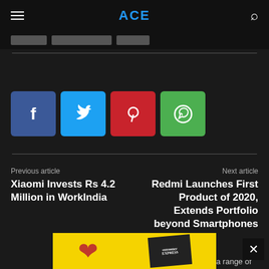ACE
[Figure (screenshot): Social share buttons: Facebook (blue), Twitter (cyan), Pinterest (red), WhatsApp (green)]
Previous article
Xiaomi Invests Rs 4.2 Million in WorkIndia
Next article
Redmi Launches First Product of 2020, Extends Portfolio beyond Smartphones
RELATED ARTICLES
MORE FROM AUTHOR
[Figure (screenshot): Advertisement banner with yellow background showing a red heart and a newspaper/magazine image]
a range of